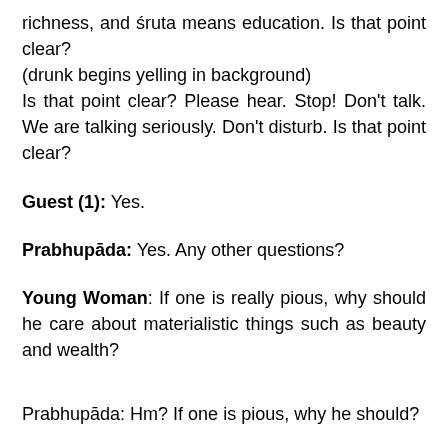richness, and śruta means education. Is that point clear?
(drunk begins yelling in background)
Is that point clear? Please hear. Stop! Don't talk. We are talking seriously. Don't disturb. Is that point clear?
Guest (1): Yes.
Prabhupāda: Yes. Any other questions?
Young Woman: If one is really pious, why should he care about materialistic things such as beauty and wealth?
Prabhupāda: Hm? If one is pious, why he should?
Young Woman: Why should he care about things like beauty and wealth?